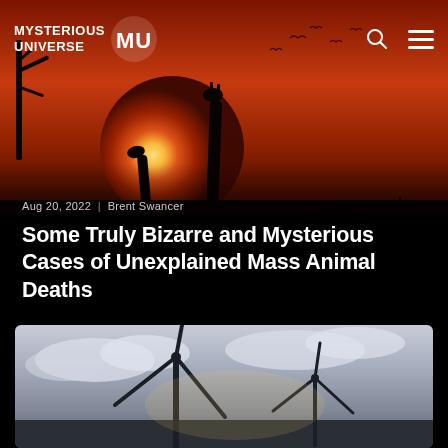MYSTERIOUS UNIVERSE MU
[Figure (photo): Silhouette of giraffes and other animals against a dramatic red-orange sunset sky with large sun disc]
Aug 20, 2022  |  Brent Swancer
Some Truly Bizarre and Mysterious Cases of Unexplained Mass Animal Deaths
Conspiracy
mysterious deaths
natural world
Read Article ›
[Figure (photo): Wind turbines silhouetted against a cloudy sky at dusk or dawn]